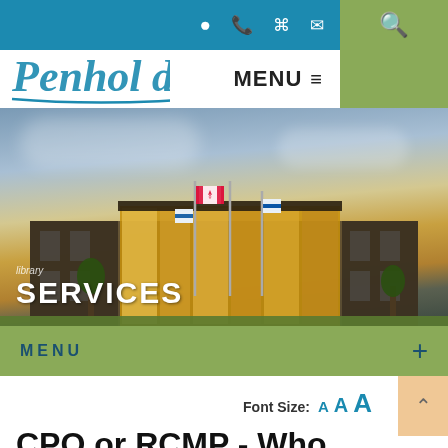[Figure (logo): Penhold municipality logo with swoosh design on teal blue background with navigation icons]
[Figure (photo): Municipal building with flags (Canadian flag and Alberta flags) against a dramatic sky at dusk. Text overlay reads 'library SERVICES'.]
MENU +
Font Size: A A A
CPO or RCMP - Who You Gonna Call?